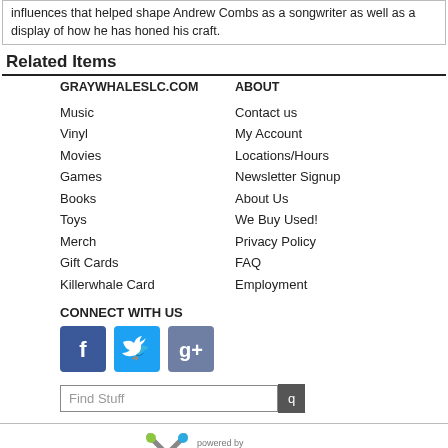influences that helped shape Andrew Combs as a songwriter as well as a display of how he has honed his craft.
Related Items
GRAYWHALESLC.COM
Music
Vinyl
Movies
Games
Books
Toys
Merch
Gift Cards
Killerwhale Card
ABOUT
Contact us
My Account
Locations/Hours
Newsletter Signup
About Us
We Buy Used!
Privacy Policy
FAQ
Employment
CONNECT WITH US
[Figure (illustration): Social media icons: Facebook (blue), Twitter (blue), Google+ (slate blue)]
Find Stuff
[Figure (logo): FieldStack logo with X mark and text 'powered by FieldStack']
Copyright © 2022 Graywhale. All rights reserved.